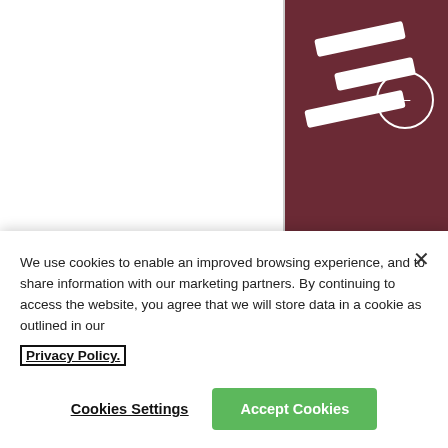[Figure (photo): Wayfinding signage at Charles de Gaulle Airport near Paris, showing arrow signs on a dark red/maroon background]
Alphabet Roissy, a prelimina... Gaulle Airport near Paris
Without doubt, Frutiger will have been in use for centuri...
Over time, Adrian Frutiger d...
We use cookies to enable an improved browsing experience, and to share information with our marketing partners. By continuing to access the website, you agree that we will store data in a cookie as outlined in our Privacy Policy.
Cookies Settings
Accept Cookies